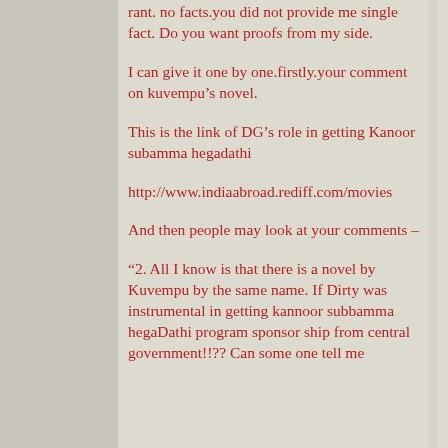rant. no facts.you did not provide me single fact. Do you want proofs from my side.
I can give it one by one.firstly.your comment on kuvempu's novel.
This is the link of DG's role in getting Kanoor subamma hegadathi
http://www.indiaabroad.rediff.com/movies
And then people may look at your comments –
“2. All I know is that there is a novel by Kuvempu by the same name. If Dirty was instrumental in getting kannoor subbamma hegaDathi program sponsor ship from central government!!?? Can some one tell me